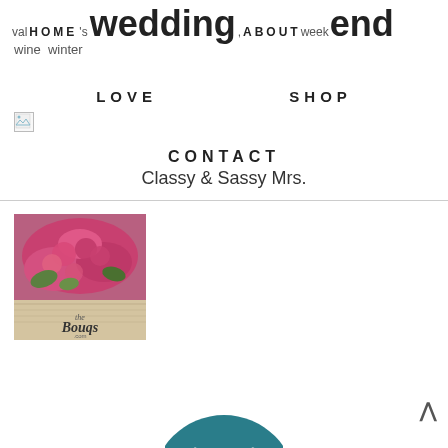HOME | ABOUT | valentine's wedding weekend wine winter
LOVE    SHOP
[Figure (illustration): Broken image placeholder icon]
CONTACT
Classy & Sassy Mrs.
[Figure (photo): The Bouqs Co. advertisement — pink roses bouquet with 'the Bouqs.com' logo]
[Figure (logo): Teal circular logo with white W/X mark, partially cropped at bottom]
^ (back to top arrow)